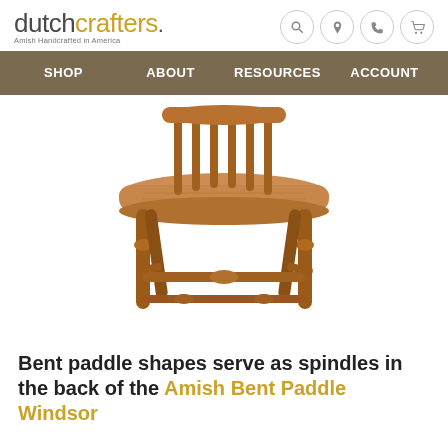dutchcrafters. Amish Handcrafted in America
[Figure (screenshot): DutchCrafters navigation bar with SHOP, ABOUT, RESOURCES, ACCOUNT menu items on an olive/brown background]
[Figure (photo): Amish Bent Paddle Windsor chair with wooden spindle back and turned legs in oak finish, viewed from a front-angle perspective]
Bent paddle shapes serve as spindles in the back of the Amish Bent Paddle Windsor